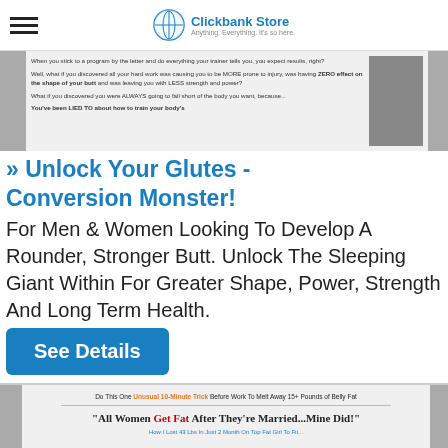Clickbank Store
[Figure (screenshot): Screenshot of a fitness product webpage showing text about training and an image of a muscular man and woman]
» Unlock Your Glutes - Conversion Monster!
For Men & Women Looking To Develop A Rounder, Stronger Butt. Unlock The Sleeping Giant Within For Greater Shape, Power, Strength And Long Term Health.
See Details
[Figure (screenshot): Screenshot of a second product page: 'Do This One Unusual 10-Minute Trick Before Work To Melt Away 15+ Pounds of Belly Fat' with headline 'All Women Get Fat After They're Married...Mine Did!']